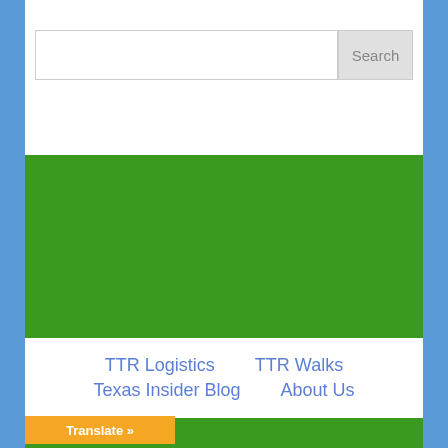Search
TTR Logistics    TTR Walks    Texas Insider Blog    About Us
Website Maintenance by: Advanced WEB Strategies
Translate »